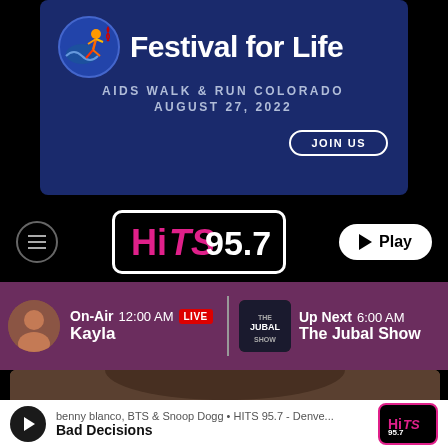[Figure (illustration): Festival for Life AIDS Walk & Run Colorado promotional banner with colorful running figure logo, red ribbon, dark blue background, and JOIN US button. Date: August 27, 2022.]
[Figure (logo): HITS 95.7 radio station logo in a black rounded rectangle, with navigation bar including hamburger menu button on left and Play button on right.]
On-Air 12:00 AM LIVE Kayla | Up Next 6:00 AM The Jubal Show
[Figure (photo): Partial photo visible at bottom of screen.]
benny blanco, BTS & Snoop Dogg • HITS 95.7 - Denve... Bad Decisions